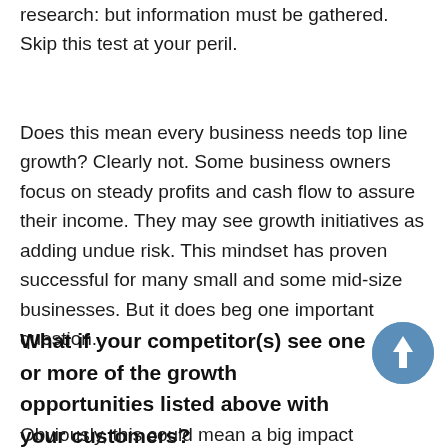research: but information must be gathered. Skip this test at your peril.
Does this mean every business needs top line growth? Clearly not. Some business owners focus on steady profits and cash flow to assure their income. They may see growth initiatives as adding undue risk. This mindset has proven successful for many small and some mid-size businesses. But it does beg one important question.
What if your competitor(s) see one or more of the growth opportunities listed above with your customers?
Obviously, this could mean a big impact